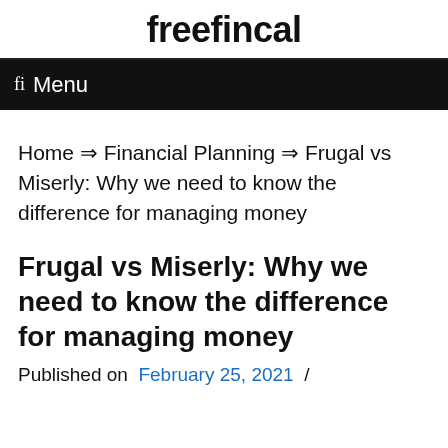freefincal
fi  Menu
Home ⇒ Financial Planning ⇒ Frugal vs Miserly: Why we need to know the difference for managing money
Frugal vs Miserly: Why we need to know the difference for managing money
Published on  February 25, 2021  /